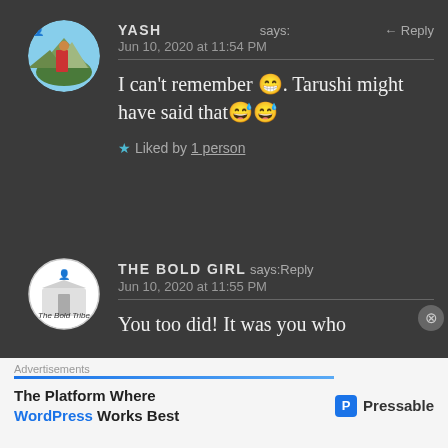YASH says: Jun 10, 2020 at 11:54 PM ← Reply
I can't remember 😁. Tarushi might have said that😅😅
★ Liked by 1 person
THE BOLD GIRL says: Jun 10, 2020 at 11:55 PM ← Reply
You too did! It was you who
Advertisements
The Platform Where WordPress Works Best    Pressable